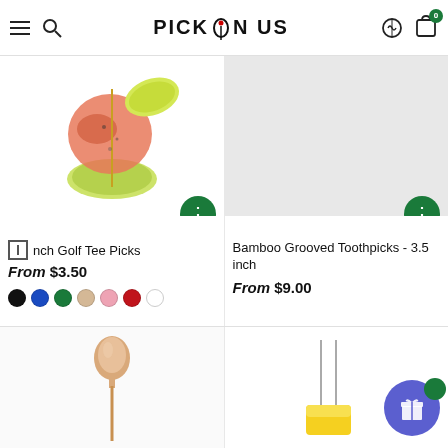PICK ON US
[Figure (photo): Shrimp skewer with lime on a golf tee pick, left product image]
inch Golf Tee Picks
From $3.50
[Figure (photo): Gray/empty product image for Bamboo Grooved Toothpicks]
Bamboo Grooved Toothpicks - 3.5 inch
From $9.00
[Figure (photo): Natural wood golf tee pick product image, bottom left]
[Figure (photo): Skewer with yellow food item, bottom right product image]